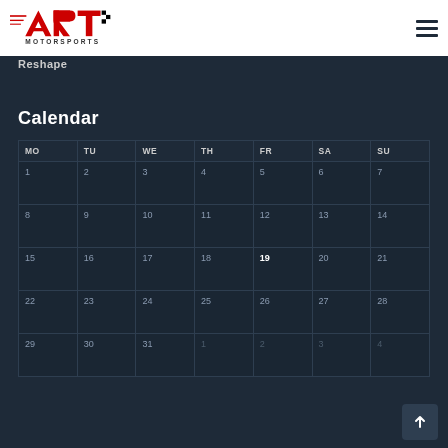[Figure (logo): ART Motorsports logo in red with checkered flag element and 'MOTORSPORTS' text below]
Reshape
Calendar
| MO | TU | WE | TH | FR | SA | SU |
| --- | --- | --- | --- | --- | --- | --- |
| 1 | 2 | 3 | 4 | 5 | 6 | 7 |
| 8 | 9 | 10 | 11 | 12 | 13 | 14 |
| 15 | 16 | 17 | 18 | 19 | 20 | 21 |
| 22 | 23 | 24 | 25 | 26 | 27 | 28 |
| 29 | 30 | 31 | 1 | 2 | 3 | 4 |